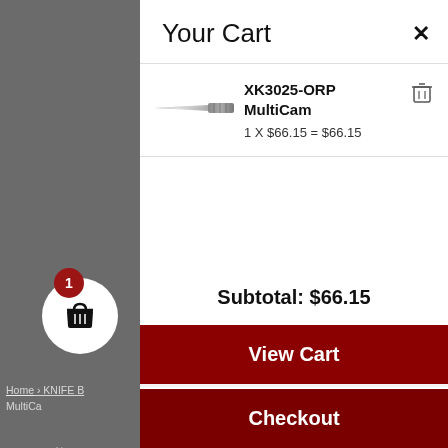Your Cart
[Figure (screenshot): Shopping cart item: XK3025-ORP MultiCam knife, showing a small product image of a knife/tool, with quantity 1 x $66.15 = $66.15 and a trash/delete icon]
Subtotal: $66.15
View Cart
Checkout
Home › KNIFE B›
MultiCa
We use cookie relevant exper and repeat vis to the use of A "Cookie Settin
Cookie Setting